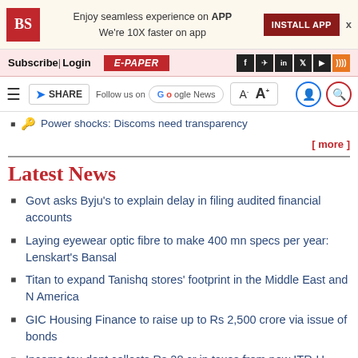BS | Enjoy seamless experience on APP We're 10X faster on app | INSTALL APP
Subscribe | Login | E-PAPER
SHARE | Follow us on Google News | A- A+
Power shocks: Discoms need transparency
[ more ]
Latest News
Govt asks Byju's to explain delay in filing audited financial accounts
Laying eyewear optic fibre to make 400 mn specs per year: Lenskart's Bansal
Titan to expand Tanishq stores' footprint in the Middle East and N America
GIC Housing Finance to raise up to Rs 2,500 crore via issue of bonds
Income tax dept collects Rs 28 cr in taxes from new ITR-U filing
[ more ]